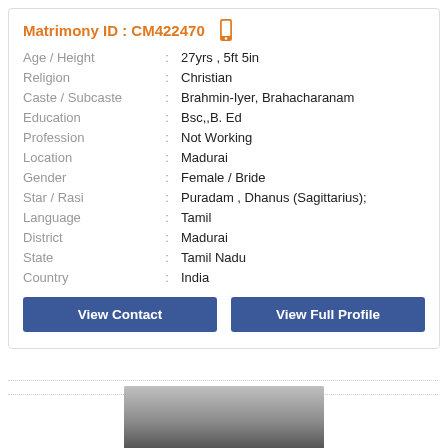Matrimony ID : CM422470
| Field | : | Value |
| --- | --- | --- |
| Age / Height | : | 27yrs , 5ft 5in |
| Religion | : | Christian |
| Caste / Subcaste | : | Brahmin-Iyer, Brahacharanam |
| Education | : | Bsc,,B. Ed |
| Profession | : | Not Working |
| Location | : | Madurai |
| Gender | : | Female / Bride |
| Star / Rasi | : | Puradam , Dhanus (Sagittarius); |
| Language | : | Tamil |
| District | : | Madurai |
| State | : | Tamil Nadu |
| Country | : | India |
View Contact
View Full Profile
[Figure (photo): Partial photo of a person visible at the bottom of the card]